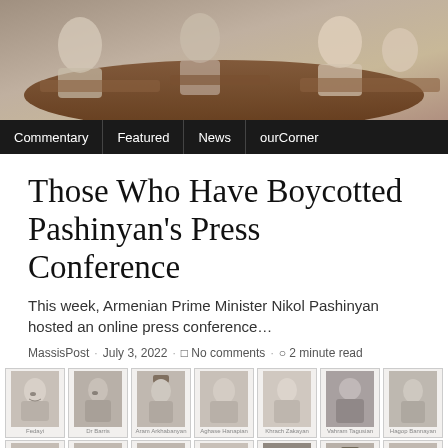[Figure (photo): Header photo showing people seated at a conference table, top-down view]
Commentary | Featured | News | ourCorner
Those Who Have Boycotted Pashinyan's Press Conference
This week, Armenian Prime Minister Nikol Pashinyan hosted an online press conference…
MassisPost · July 3, 2022 · No comments · 2 minute read
[Figure (photo): Grid of historical black-and-white portrait photographs of individuals who boycotted Pashinyan's press conference, arranged in rows with captions including names such as Fedayi, Dr Barris, Aram Arkhabanyan, Aghase Hanapian, Khrach Zakayan, Vahram Tagusian, Hagop Bannayan (row 1); Sirpiel Hovian, Rupen Zardecian, Antranig Handabashonian, Arakel Hovsefian, Krant Papinian, Karig Allec Boujani, Sokhomnes P Shahinian (row 2); partial third row visible]